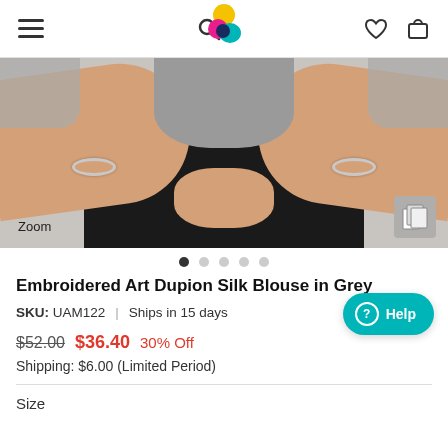Navigation bar with menu, search, logo, wishlist, and cart icons
[Figure (photo): Product photo showing a woman's hands and wrists wearing silver bangles, dressed in a grey embroidered art dupion silk blouse with a black drape. A 'Zoom' label and gallery icon appear in the bottom corners.]
Embroidered Art Dupion Silk Blouse in Grey
SKU: UAM122  |  Ships in 15 days
$52.00  $36.40  30% Off
Shipping: $6.00 (Limited Period)
Size